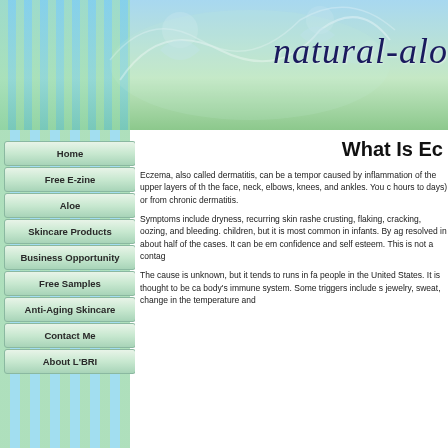[Figure (illustration): Website header banner with blue-green gradient background, decorative floral/swirl motifs, vertical stripe pattern on left side, and italic script text 'natural-alo' visible]
Home
Free E-zine
Aloe
Skincare Products
Business Opportunity
Free Samples
Anti-Aging Skincare
Contact Me
About L'BRI
What Is Ec
Eczema, also called dermatitis, can be a tempor caused by inflammation of the upper layers of th the face, neck, elbows, knees, and ankles. You hours to days) or from chronic dermatitis.
Symptoms include dryness, recurring skin rashe crusting, flaking, cracking, oozing, and bleeding. children, but it is most common in infants. By ag resolved in about half of the cases. It can be em confidence and self esteem. This is not a contag
The cause is unknown, but it tends to runs in fa people in the United States. It is thought to be c body's immune system. Some triggers include s jewelry, sweat, change in the temperature and